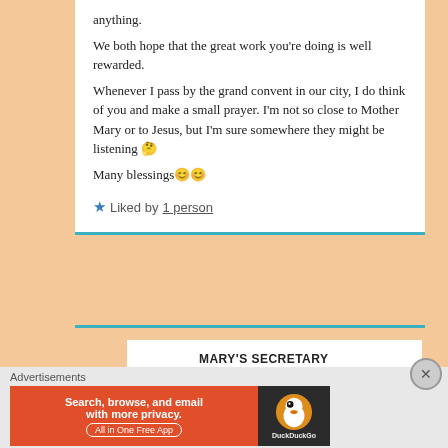anything.
We both hope that the great work you’re doing is well rewarded.
Whenever I pass by the grand convent in our city, I do think of you and make a small prayer. I’m not so close to Mother Mary or to Jesus, but I’m sure somewhere they might be listening 🤔
Many blessings😊😊
★ Liked by 1 person
MARY’S SECRETARY
January 30, 2021 at 8:52 pm
Advertisements
[Figure (other): DuckDuckGo advertisement banner: orange background with text 'Search, browse, and email with more privacy. All in One Free App' and DuckDuckGo duck logo on dark right panel.]